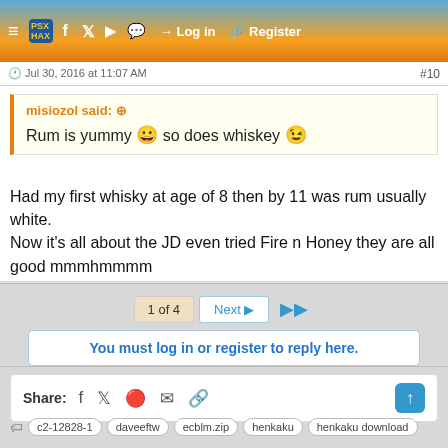≡  PSXHAX  f  𝕏  ▶  💬  → Log in  🔗 Register
🕐 Jul 30, 2016 at 11:07 AM  #10
misiozol said: ⊕
Rum is yummy 😀 so does whiskey 😉
Had my first whisky at age of 8 then by 11 was rum usually white.
Now it's all about the JD even tried Fire n Honey they are all good mmmhmmmm
1 of 4  Next ▶  ▶▶
You must log in or register to reply here.
Share:  f  𝕏  reddit  ✉  🔗
c2-12828-1  daveeftw  ecblm.zip  henkaku  henkaku download  henkaku ps tv  henkaku ps vita  henkaku pstv  henkaku psvita